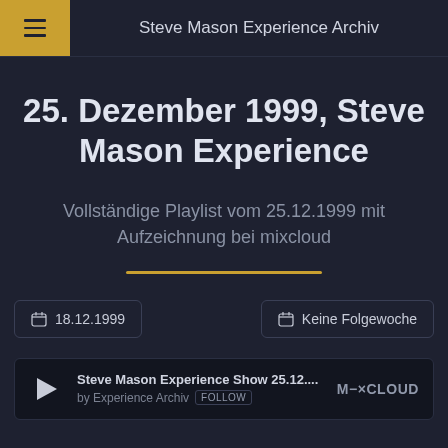Steve Mason Experience Archiv
25. Dezember 1999, Steve Mason Experience
Vollständige Playlist vom 25.12.1999 mit Aufzeichnung bei mixcloud
📅 18.12.1999
📅 Keine Folgewoche
Steve Mason Experience Show 25.12.... by Experience Archiv FOLLOW M-XCLOUD